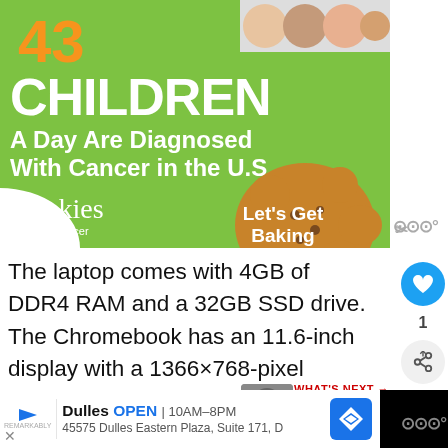[Figure (infographic): Green ad banner: '43 Children A Day Are Diagnosed With Cancer in the U.S.' with cookies for kids' cancer logo and cookie image with 'Let's Get Baking' text]
The laptop comes with 4GB of DDR4 RAM and a 32GB SSD drive. The Chromebook has an 11.6-inch display with a 1366×768-pixel resolution.
MediaTek Integrated Graphics, Intel W and Bluetooth 4.2 are all included. The C...on th...
[Figure (infographic): Bottom ad: Dulles OPEN 10AM-8PM, 45575 Dulles Eastern Plaza, Suite 171, D with navigation arrow icon]